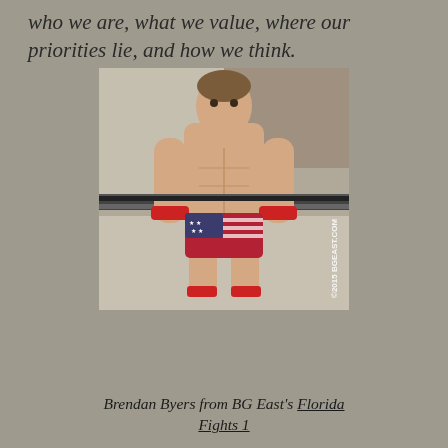who we are, what we value, where our priorities lie, and how we think.
[Figure (photo): Brendan Byers, a muscular young man in American flag wrestling briefs and red wrist bands, posing in a wrestling ring. Watermark reads ©2015 BGEAST.COM.]
Brendan Byers from BG East's Florida Fights 1